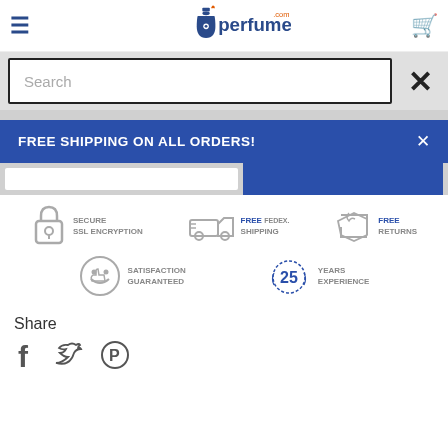[Figure (logo): QQperfume.com logo with blue perfume bottle icon and orange flame accent]
Search
FREE SHIPPING ON ALL ORDERS!
[Figure (infographic): Trust badges: Secure SSL Encryption, FREE FedEx Shipping, FREE Returns, Satisfaction Guaranteed, 25 Years Experience]
Share